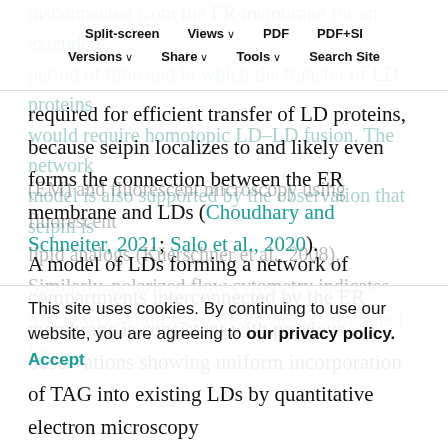Split-screen | Views | PDF | PDF+SI | Versions | Share | Tools | Search Site
disconnected from the ER membrane for an extended period of time and in which the transfer of LD proteins would require homotopic LD–LD fusion. The network model is also supported by the observation that seipin is required for efficient transfer of LD proteins, because seipin localizes to and likely even forms the connection between the ER membrane and LDs (Choudhary and Schneiter, 2021; Salo et al., 2020).
A model of LDs forming a network of compartments interconnected by the ER membrane is consistent with previous observations showing uniform incorporation of TAG into existing LDs by quantitative electron microscopy (EM) and fluorescent microscopy using fluorescent lipid analogs (Kuerschner et al., 2008). Similarly, polarized flow cytometry indicates that newly synthesized sterols are incorporated into existing LDs
This site uses cookies. By continuing to use our website, you are agreeing to our privacy policy.
Accept